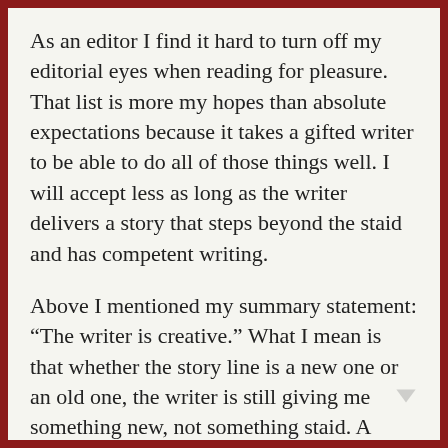As an editor I find it hard to turn off my editorial eyes when reading for pleasure. That list is more my hopes than absolute expectations because it takes a gifted writer to be able to do all of those things well. I will accept less as long as the writer delivers a story that steps beyond the staid and has competent writing.
Above I mentioned my summary statement: “The writer is creative.” What I mean is that whether the story line is a new one or an old one, the writer is still giving me something new, not something staid. A writer who knows how to use the language (including punctuation) to give the story impact (while not showing off or trying to prove...